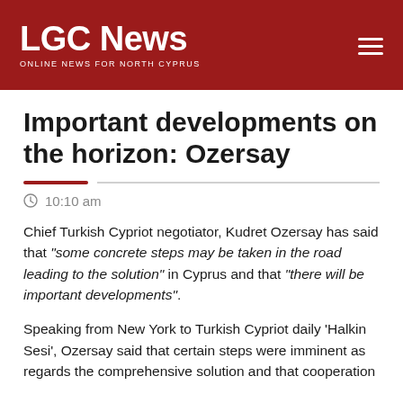LGC News — ONLINE NEWS FOR NORTH CYPRUS
Important developments on the horizon: Ozersay
10:10 am
Chief Turkish Cypriot negotiator, Kudret Ozersay has said that "some concrete steps may be taken in the road leading to the solution" in Cyprus and that "there will be important developments".
Speaking from New York to Turkish Cypriot daily 'Halkin Sesi', Ozersay said that certain steps were imminent as regards the comprehensive solution and that cooperation